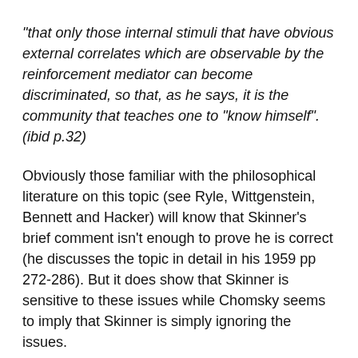“that only those internal stimuli that have obvious external correlates which are observable by the reinforcement mediator can become discriminated, so that, as he says, it is the community that teaches one to “know himself”.(ibid p.32)
Obviously those familiar with the philosophical literature on this topic (see Ryle, Wittgenstein, Bennett and Hacker) will know that Skinner’s brief comment isn’t enough to prove he is correct (he discusses the topic in detail in his 1959 pp 272-286). But it does show that Skinner is sensitive to these issues while Chomsky seems to imply that Skinner is simply ignoring the issues.
From my own reading of ‘Verbal Behaviour’ I agree